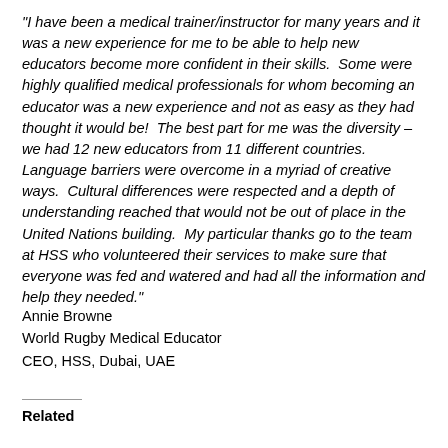“I have been a medical trainer/instructor for many years and it was a new experience for me to be able to help new educators become more confident in their skills.  Some were highly qualified medical professionals for whom becoming an educator was a new experience and not as easy as they had thought it would be!  The best part for me was the diversity – we had 12 new educators from 11 different countries.  Language barriers were overcome in a myriad of creative ways.  Cultural differences were respected and a depth of understanding reached that would not be out of place in the United Nations building.  My particular thanks go to the team at HSS who volunteered their services to make sure that everyone was fed and watered and had all the information and help they needed.”
Annie Browne
World Rugby Medical Educator
CEO, HSS, Dubai, UAE
Related